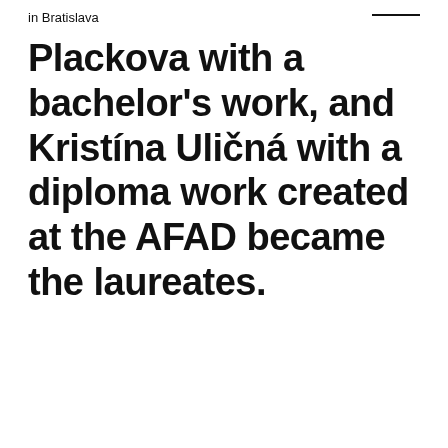in Bratislava
Plackova with a bachelor's work, and Kristína Uličná with a diploma work created at the AFAD became the laureates.